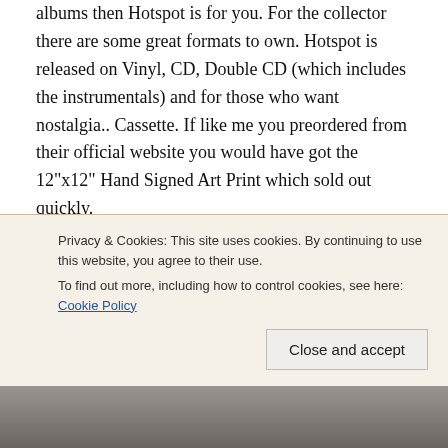albums then Hotspot is for you. For the collector there are some great formats to own. Hotspot is released on Vinyl, CD, Double CD (which includes the instrumentals) and for those who want nostalgia.. Cassette. If like me you preordered from their official website you would have got the 12"x12" Hand Signed Art Print which sold out quickly.
HotSpot is a return to form and if the Disco 5 release rumours are true, then here’s hoping there are some HotSpot remixes to follow…
Privacy & Cookies: This site uses cookies. By continuing to use this website, you agree to their use.
To find out more, including how to control cookies, see here: Cookie Policy
[Figure (photo): Partial photo strip at the bottom of the page, showing a dark brownish-gray image strip, likely a physical media or album artwork photo.]